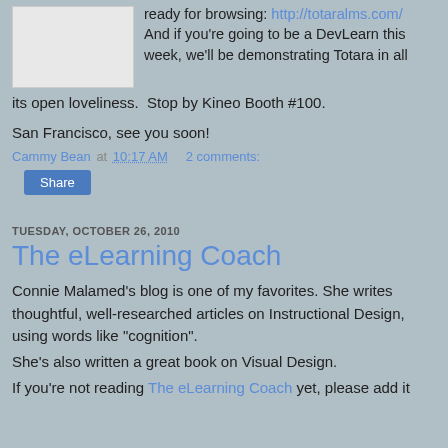[Figure (photo): Small white/blank image placeholder in upper left]
ready for browsing: http://totaralms.com/
And if you're going to be a DevLearn this week, we'll be demonstrating Totara in all its open loveliness.  Stop by Kineo Booth #100.
San Francisco, see you soon!
Cammy Bean at 10:17 AM   2 comments:
Share
TUESDAY, OCTOBER 26, 2010
The eLearning Coach
Connie Malamed's blog is one of my favorites. She writes thoughtful, well-researched articles on Instructional Design, using words like "cognition".
She's also written a great book on Visual Design.
If you're not reading The eLearning Coach yet, please add it